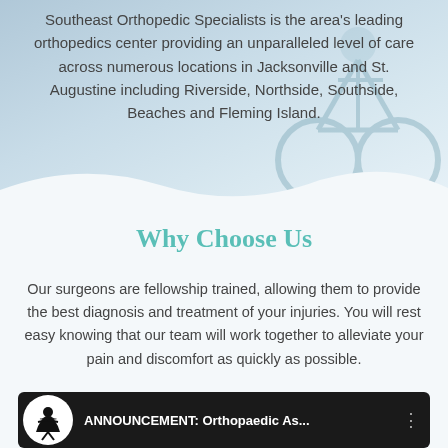Southeast Orthopedic Specialists is the area's leading orthopedics center providing an unparalleled level of care across numerous locations in Jacksonville and St. Augustine including Riverside, Northside, Southside, Beaches and Fleming Island.
Why Choose Us
Our surgeons are fellowship trained, allowing them to provide the best diagnosis and treatment of your injuries. You will rest easy knowing that our team will work together to alleviate your pain and discomfort as quickly as possible.
[Figure (screenshot): Video thumbnail showing a YouTube-style video player with a black background, a circular logo icon on the left, and the title 'ANNOUNCEMENT: Orthopaedic As...' in white text, with a three-dot menu on the right.]